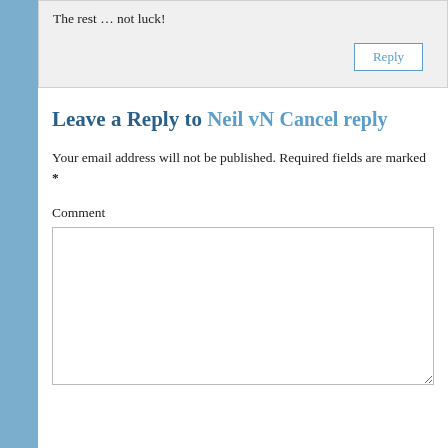The rest … not luck!
Reply
Leave a Reply to Neil vN Cancel reply
Your email address will not be published. Required fields are marked *
Comment